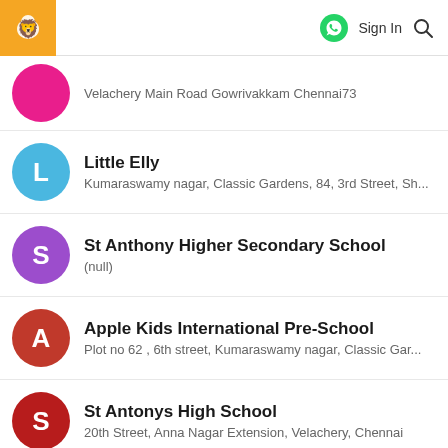Sign In
Velachery Main Road Gowrivakkam Chennai73
Little Elly
Kumaraswamy nagar, Classic Gardens, 84, 3rd Street, Sh...
St Anthony Higher Secondary School
(null)
Apple Kids International Pre-School
Plot no 62 , 6th street, Kumaraswamy nagar, Classic Gar...
St Antonys High School
20th Street, Anna Nagar Extension, Velachery, Chennai
Prism Technologies
Velachery Bypass Road, Velachery, Chennai